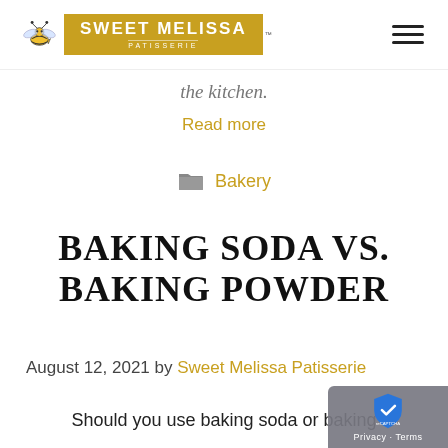Sweet Melissa Patisserie
the kitchen.
Read more
Bakery
BAKING SODA VS. BAKING POWDER
August 12, 2021 by Sweet Melissa Patisserie
Should you use baking soda or baking